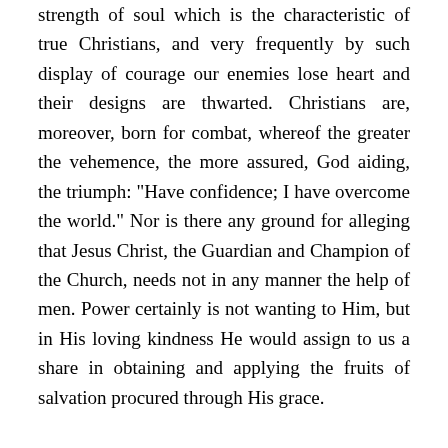strength of soul which is the characteristic of true Christians, and very frequently by such display of courage our enemies lose heart and their designs are thwarted. Christians are, moreover, born for combat, whereof the greater the vehemence, the more assured, God aiding, the triumph: "Have confidence; I have overcome the world." Nor is there any ground for alleging that Jesus Christ, the Guardian and Champion of the Church, needs not in any manner the help of men. Power certainly is not wanting to Him, but in His loving kindness He would assign to us a share in obtaining and applying the fruits of salvation procured through His grace.